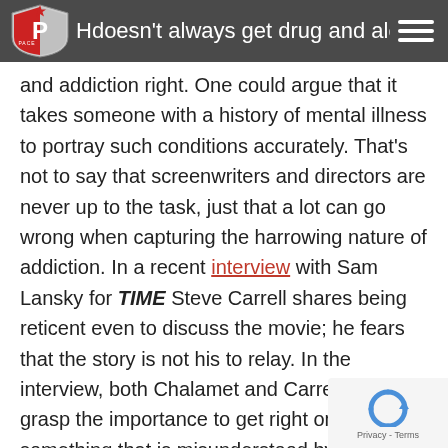H... doesn't always get drug and alcohol use
and addiction right. One could argue that it takes someone with a history of mental illness to portray such conditions accurately. That's not to say that screenwriters and directors are never up to the task, just that a lot can go wrong when capturing the harrowing nature of addiction. In a recent interview with Sam Lansky for TIME Steve Carrell shares being reticent even to discuss the movie; he fears that the story is not his to relay. In the interview, both Chalamet and Carrell seem to grasp the importance to get right on screen something that is misunderstood by millions of Americans.